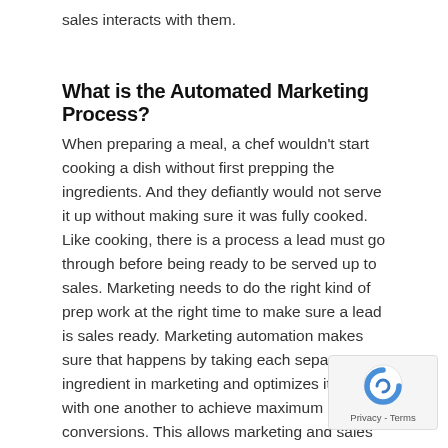sales interacts with them.
What is the Automated Marketing Process?
When preparing a meal, a chef wouldn't start cooking a dish without first prepping the ingredients. And they defiantly would not serve it up without making sure it was fully cooked. Like cooking, there is a process a lead must go through before being ready to be served up to sales. Marketing needs to do the right kind of prep work at the right time to make sure a lead is sales ready. Marketing automation makes sure that happens by taking each separate ingredient in marketing and optimizes it to work with one another to achieve maximum conversions. This allows marketing and sales to have the right type interactions with a lead at the right time in the sales process. Marketing automation is made